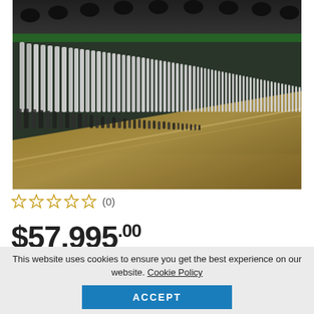[Figure (photo): Close-up photo of piano hammers and strings inside a grand piano. Rows of white felt hammers and black piano strings are visible, with a wooden soundboard. The image is slightly blurred with a shallow depth of field.]
☆ ☆ ☆ ☆ ☆ (0)
$57,995.00
This website uses cookies to ensure you get the best experience on our website. Cookie Policy
ACCEPT